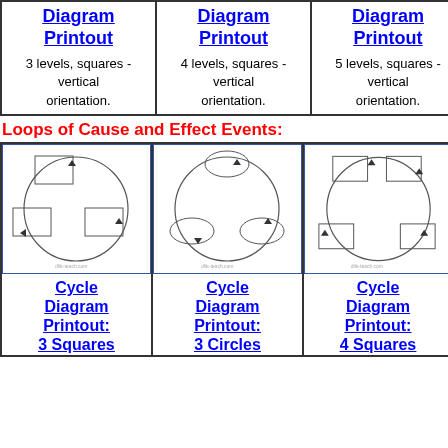[Figure (other): Diagram Printout thumbnail - 3 levels squares vertical]
Diagram Printout
3 levels, squares - vertical orientation.
[Figure (other): Diagram Printout thumbnail - 4 levels squares vertical]
Diagram Printout
4 levels, squares - vertical orientation.
[Figure (other): Diagram Printout thumbnail - 5 levels squares vertical]
Diagram Printout
5 levels, squares - vertical orientation.
Loops of Cause and Effect Events:
[Figure (other): Cycle diagram with 3 squares arranged in a circle with arrows]
Cycle Diagram Printout: 3 Squares
[Figure (other): Cycle diagram with 3 circles arranged in a circle with arrows]
Cycle Diagram Printout: 3 Circles
[Figure (other): Cycle diagram with 4 squares arranged in a circle with arrows]
Cycle Diagram Printout: 4 Squares